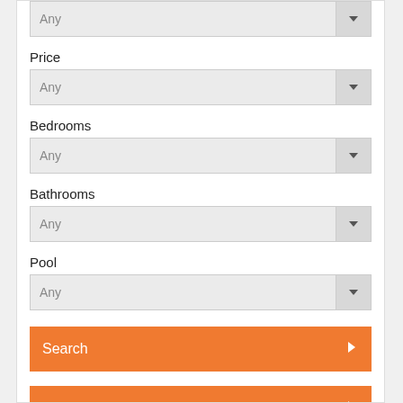[Figure (screenshot): A partial web form showing dropdown selectors for Price, Bedrooms, Bathrooms, Pool fields, each with 'Any' placeholder, and orange Search and Reset Form buttons with right-arrow icons.]
Price
Any
Bedrooms
Any
Bathrooms
Any
Pool
Any
Search
Reset Form